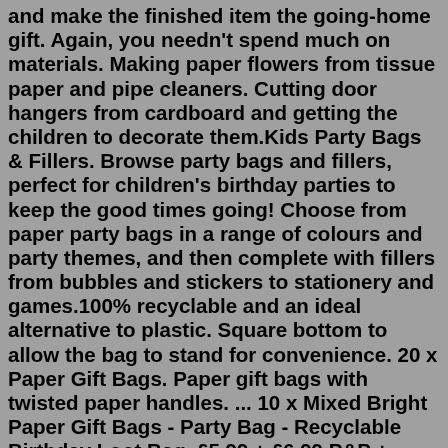and make the finished item the going-home gift. Again, you needn't spend much on materials. Making paper flowers from tissue paper and pipe cleaners. Cutting door hangers from cardboard and getting the children to decorate them.Kids Party Bags & Fillers. Browse party bags and fillers, perfect for children's birthday parties to keep the good times going! Choose from paper party bags in a range of colours and party themes, and then complete with fillers from bubbles and stickers to stationery and games.100% recyclable and an ideal alternative to plastic. Square bottom to allow the bag to stand for convenience. 20 x Paper Gift Bags. Paper gift bags with twisted paper handles. ... 10 x Mixed Bright Paper Gift Bags - Party Bag - Recyclable Birthday Loot Bag. £5.99 + £6.99 P&P + £6.99 P&P + £6.99 P&P. Party Gift Coloured Paper Bags With ...May 22, 2019 · Sidewalk chalk, bubbles, jump ropes, and beach balls — this favor bag has all of the retro pleasures of your favorite childhood summers. Time to pass them on to your kids. Bubble Wands. $12 for ... Party favor, party favour, girls